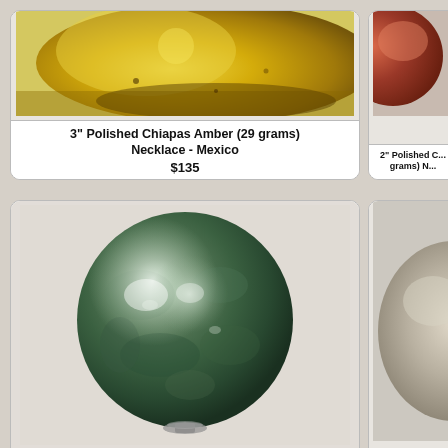[Figure (photo): Polished Chiapas Amber piece on gold background, partially cropped at top]
3" Polished Chiapas Amber (29 grams) Necklace - Mexico
$135
[Figure (photo): Reddish-brown mineral specimen, partially cropped at right]
2" Polished ... grams) N...
[Figure (photo): 2.5 inch green Fuchsite polished sphere on a stand, Madagascar]
2.5" Polished Fuchsite Sphere - Madagascar
$25
[Figure (photo): 1.9 inch Cacoxenite specimen (Necklace), partially cropped at right]
1.9" Cacoxen... (Necklace) ...
[Figure (photo): Mineral specimen at bottom left, partially cropped]
[Figure (photo): Mineral specimen at bottom right, partially cropped]